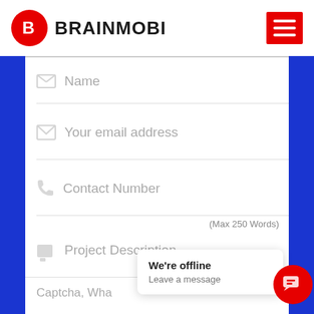[Figure (logo): BrainMobi logo: red circle with white B icon, followed by bold BRAINMOBI text]
[Figure (other): Red hamburger menu button top right]
Name
Your email address
Contact Number
(Max 250 Words)
Project Description
Captcha, Wha...
We're offline
Leave a message